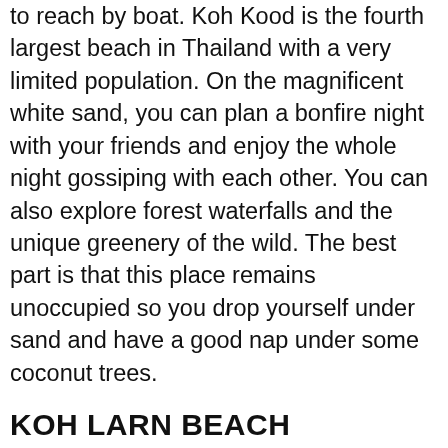to reach by boat. Koh Kood is the fourth largest beach in Thailand with a very limited population. On the magnificent white sand, you can plan a bonfire night with your friends and enjoy the whole night gossiping with each other. You can also explore forest waterfalls and the unique greenery of the wild. The best part is that this place remains unoccupied so you drop yourself under sand and have a good nap under some coconut trees.
KOH LARN BEACH
Koh Larn Beach is located on the elephant island, a close neighbour to Koh Kood beach. Koh larn is mainly an island with many beaches including samae beach, ta waon beach, tong lang, tayaiy beach, tion beach, and